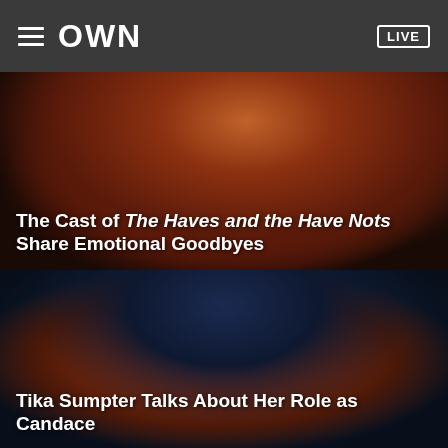OWN LIVE
[Figure (screenshot): Video thumbnail showing a woman in a red outfit with braids, hands crossed over chest, dark studio background. Title overlay reads: The Cast of The Haves and the Have Nots Share Emotional Goodbyes]
[Figure (screenshot): Video thumbnail showing a smiling woman in a red outfit with long braids, laughing, blue-toned studio background. Title overlay reads: Tika Sumpter Talks About Her Role as Candace]